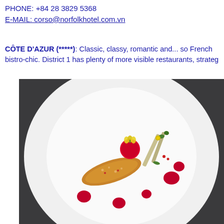PHONE:  +84 28 3829 5368
E-MAIL: corso@norfolkhotel.com.vn
CÔTE D'AZUR (*****): Classic, classy, romantic and... so French bistro-chic. District 1 has plenty of more visible restaurants, strateg
[Figure (photo): Fine dining dish on a large white plate: a golden seared piece of fish or meat, a round red radish garnished with yellow flowers, asparagus spears with herb garnish, and several drops of red sauce artfully arranged on the white plate, against a dark grey background.]